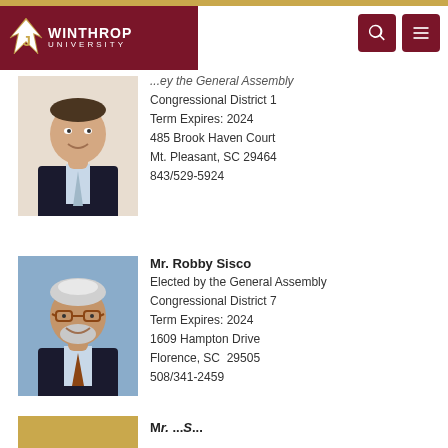[Figure (logo): Winthrop University logo with eagle and dark red background]
...ey the General Assembly
Congressional District 1
Term Expires: 2024
485 Brook Haven Court
Mt. Pleasant, SC 29464
843/529-5924
[Figure (photo): Headshot of male trustee in suit and tie]
Mr. Robby Sisco
Elected by the General Assembly
Congressional District 7
Term Expires: 2024
1609 Hampton Drive
Florence, SC 29505
508/341-2459
[Figure (photo): Headshot of older male with glasses]
[Figure (photo): Partially visible photo at bottom of page]